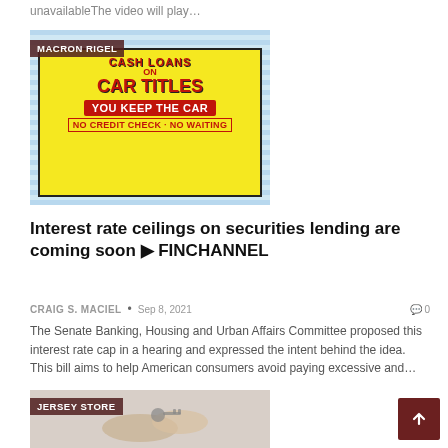unavailableThe video will play…
[Figure (photo): Cash loans on car titles signage with yellow background, red text reading CASH LOANS ON CAR TITLES YOU KEEP THE CAR NO CREDIT CHECK NO WAITING. Label tag reads MACRON RIGEL.]
Interest rate ceilings on securities lending are coming soon ▶ FINCHANNEL
CRAIG S. MACIEL • Sep 8, 2021 ❑ 0
The Senate Banking, Housing and Urban Affairs Committee proposed this interest rate cap in a hearing and expressed the intent behind the idea. This bill aims to help American consumers avoid paying excessive and…
[Figure (photo): Person handing car keys to another person. Label tag reads JERSEY STORE.]